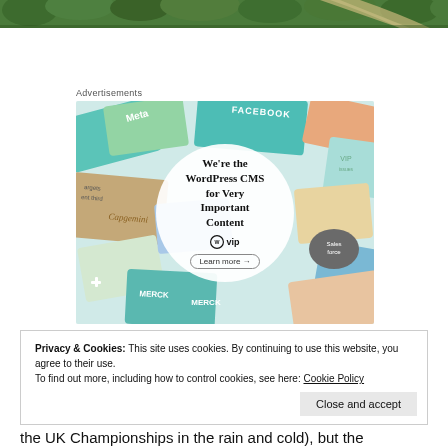[Figure (photo): Aerial photograph of green trees and a road, cropped to a narrow strip at the top of the page]
Advertisements
[Figure (illustration): WordPress VIP advertisement banner. Shows colorful overlapping brand cards (Meta, Facebook, Capgemini, Merck, Salesforce, etc.) in the background with a white circle in the center containing text: 'We're the WordPress CMS for Very Important Content', the WordPress VIP logo, and a 'Learn more' button.]
Privacy & Cookies: This site uses cookies. By continuing to use this website, you agree to their use.
To find out more, including how to control cookies, see here: Cookie Policy
Close and accept
the UK Championships in the rain and cold), but the